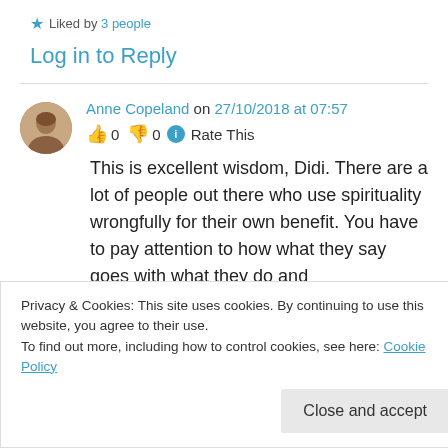★ Liked by 3 people
Log in to Reply
Anne Copeland on 27/10/2018 at 07:57
👍 0 👎 0 ℹ Rate This
This is excellent wisdom, Didi. There are a lot of people out there who use spirituality wrongfully for their own benefit. You have to pay attention to how what they say goes with what they do and
Privacy & Cookies: This site uses cookies. By continuing to use this website, you agree to their use.
To find out more, including how to control cookies, see here: Cookie Policy
Close and accept